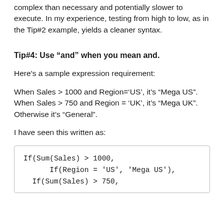complex than necessary and potentially slower to execute. In my experience, testing from high to low, as in the Tip#2 example, yields a cleaner syntax.
Tip#4: Use “and” when you mean and.
Here’s a sample expression requirement:
When Sales > 1000 and Region=‘US’, it’s “Mega US”. When Sales > 750 and Region = ‘UK’, it’s “Mega UK”. Otherwise it’s “General”.
I have seen this written as:
If(Sum(Sales) > 1000,
        If(Region = 'US', 'Mega US'),
  If(Sum(Sales) > 750,